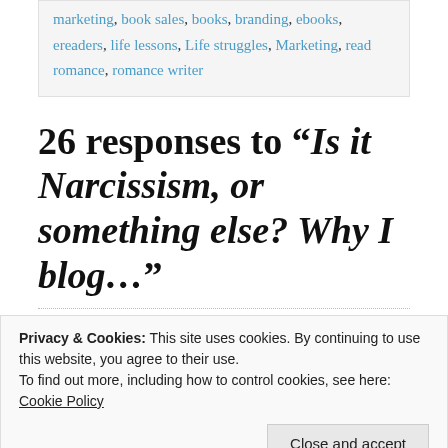marketing, book sales, books, branding, ebooks, ereaders, life lessons, Life struggles, Marketing, read romance, romance writer
26 responses to “Is it Narcissism, or something else? Why I blog…”
Privacy & Cookies: This site uses cookies. By continuing to use this website, you agree to their use.
To find out more, including how to control cookies, see here: Cookie Policy
Close and accept
up with interesting topics and somehow not